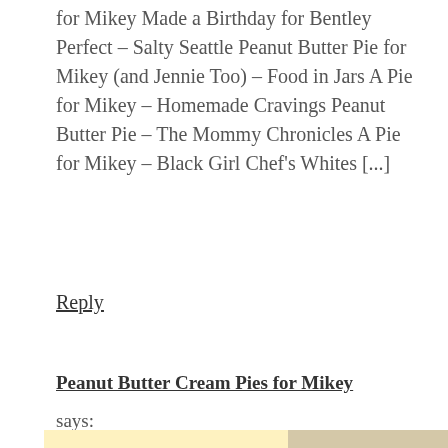for Mikey Made a Birthday for Bentley Perfect – Salty Seattle Peanut Butter Pie for Mikey (and Jennie Too) – Food in Jars A Pie for Mikey – Homemade Cravings Peanut Butter Pie – The Mommy Chronicles A Pie for Mikey – Black Girl Chef's Whites [...]
Reply
Peanut Butter Cream Pies for Mikey
says:
[Figure (screenshot): Advertisement banner with yellow background showing '#AloneTogether' in orange bold text, a photo of a woman cooking, close buttons, and a weather.com logo]